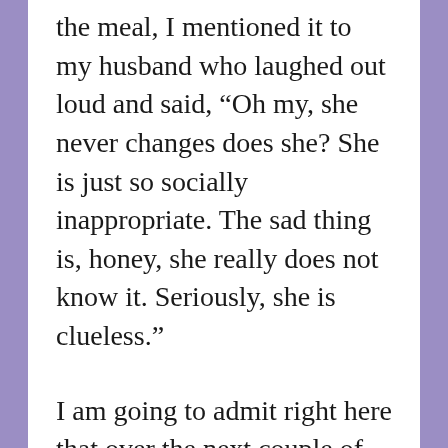the meal, I mentioned it to my husband who laughed out loud and said, “Oh my, she never changes does she? She is just so socially inappropriate. The sad thing is, honey, she really does not know it. Seriously, she is clueless.”
I am going to admit right here that over the next couple of days, I spent more than a few sessions looking in the mirror at my now past 60-year-old body and wondering if I really do